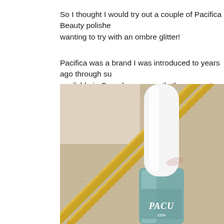So I thought I would try out a couple of Pacifica Beauty polishes I was wanting to try with an ombre glitter!
Pacifica was a brand I was introduced to years ago through su... available in Canada, so recently they came to Shoppers Drug M...
[Figure (photo): Close-up photo of a Pacifica nail polish bottle (teal/green color) with a white cap, lying on a textured beige fabric background with gold metallic rods/sticks crossing diagonally.]